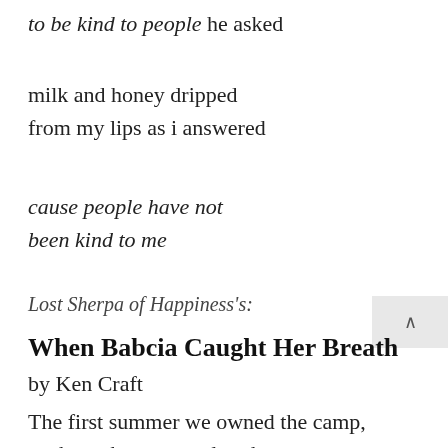to be kind to people he asked
milk and honey dripped
from my lips as i answered
cause people have not
been kind to me
Lost Sherpa of Happiness's:
When Babcia Caught Her Breath
by Ken Craft
The first summer we owned the camp,
we brought my grandmother,